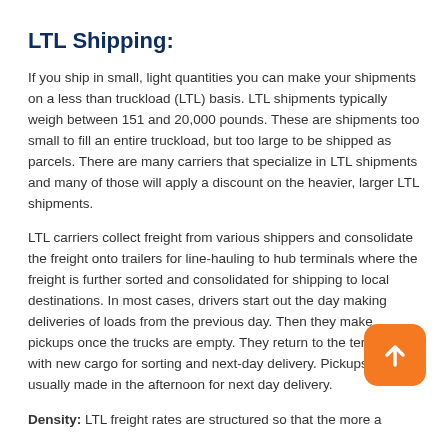LTL Shipping:
If you ship in small, light quantities you can make your shipments on a less than truckload (LTL) basis. LTL shipments typically weigh between 151 and 20,000 pounds. These are shipments too small to fill an entire truckload, but too large to be shipped as parcels. There are many carriers that specialize in LTL shipments and many of those will apply a discount on the heavier, larger LTL shipments.
LTL carriers collect freight from various shippers and consolidate the freight onto trailers for line-hauling to hub terminals where the freight is further sorted and consolidated for shipping to local destinations. In most cases, drivers start out the day making deliveries of loads from the previous day. Then they make pickups once the trucks are empty. They return to the terminals with new cargo for sorting and next-day delivery. Pickups are usually made in the afternoon for next day delivery.
[Figure (illustration): Orange rounded square button with white upward arrow icon]
Density: LTL freight rates are structured so that the more a